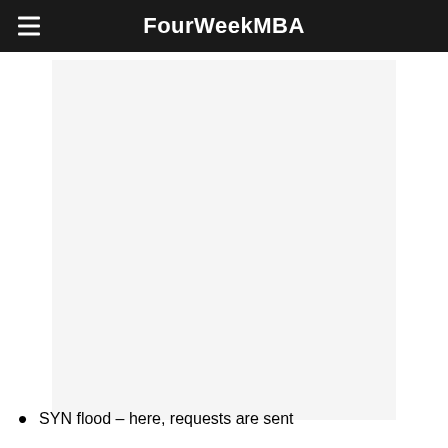FourWeekMBA
[Figure (other): Blank/faded image placeholder area with light gray background]
SYN flood – here, requests are sent